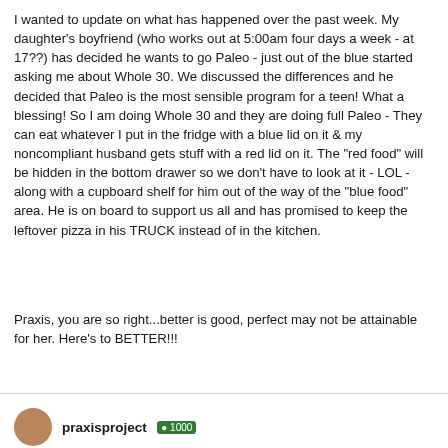I wanted to update on what has happened over the past week.  My daughter's boyfriend (who works out at 5:00am four days a week - at 17??) has decided he wants to go Paleo - just out of the blue started asking me about Whole 30.  We discussed the differences and he decided that Paleo is the most sensible program for a teen!  What a blessing!  So I am doing Whole 30 and they are doing full Paleo - They can eat whatever I put in the fridge with a blue lid on it & my noncompliant husband gets stuff with a red lid on it. The "red food" will be hidden in the bottom drawer so we don't have to look at it - LOL - along with a cupboard shelf for him out of the way of the "blue food" area.  He is on board to support us all and has promised to keep the leftover pizza in his TRUCK instead of in the kitchen.
Praxis, you are so right...better is good, perfect may not be attainable for her.  Here's to BETTER!!!
praxisproject